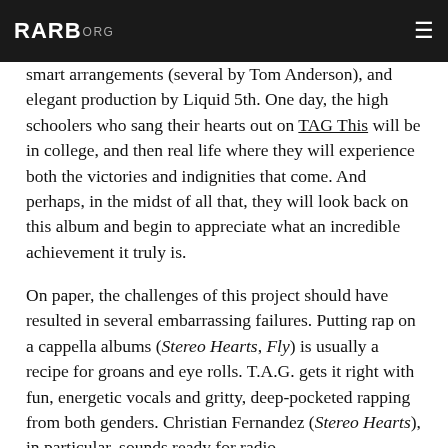RARB.ORG
...smart arrangements (several by Tom Anderson), and elegant production by Liquid 5th. One day, the high schoolers who sang their hearts out on TAG This will be in college, and then real life where they will experience both the victories and indignities that come. And perhaps, in the midst of all that, they will look back on this album and begin to appreciate what an incredible achievement it truly is.
On paper, the challenges of this project should have resulted in several embarrassing failures. Putting rap on a cappella albums (Stereo Hearts, Fly) is usually a recipe for groans and eye rolls. T.A.G. gets it right with fun, energetic vocals and gritty, deep-pocketed rapping from both genders. Christian Fernandez (Stereo Hearts), in particular, sounds ready for radio.
A Change Is Gonna Come presents similarly daunting challenges. Without a soloist of impressive vocal stature, the song guarantees nothing if not a listener's disappointed